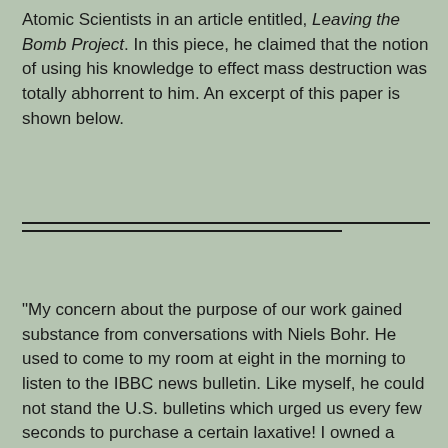Atomic Scientists in an article entitled, Leaving the Bomb Project.  In this piece, he claimed that the notion of using his knowledge to effect mass destruction was totally abhorrent to him.  An excerpt of this paper is shown below.
"My concern about the purpose of our work gained substance from conversations with Niels Bohr. He used to come to my room at eight in the morning to listen to the IBBC news bulletin.  Like myself, he could not stand the U.S. bulletins which urged us every few seconds to purchase a certain laxative! I owned a special radio on which I could receive the BBC World Service. Sometimes Bohr stayed on and talked to me about the social and political implications of the discovery of nuclear energy and of his worry about the dire consequences of a nuclear arms race between East and West which he foresaw.  All this, and the growing evidence that the war in Europe would be over